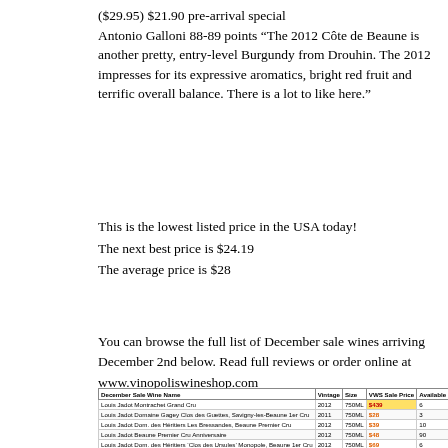($29.95) $21.90 pre-arrival special
Antonio Galloni 88-89 points “The 2012 Côte de Beaune is another pretty, entry-level Burgundy from Drouhin. The 2012 impresses for its expressive aromatics, bright red fruit and terrific overall balance. There is a lot to like here.”
This is the lowest listed price in the USA today!
The next best price is $24.19
The average price is $28
You can browse the full list of December sale wines arriving December 2nd below. Read full reviews or order online at www.vinopoliswineshop.com
| December Sale Wine Name | Vintage | Size | VWS Sale Price | Available | ETA | Score |
| --- | --- | --- | --- | --- | --- | --- |
| Louis Jadot Montrachet Grand Cru | 2012 | 750ML | $439 | 6 | DEC 2nd | 95VT |
| Louis Jadot Domaine Gagey Clos des Guettes, Savigny-les-Beaune 1er Cru | 2011 | 750ML | $28 | 3 | DEC 2nd | 88-90 |
| Louis Jadot Dom. des Héritiers Les Bressandes, Beaune Premier Cru | 2012 | 750ML | $39 | 10 | DEC 2nd |  |
| Louis Jadot Beaune Promier Cru Anniversaire | 2012 | 750ML | $48 | 90 | DEC 2nd | 94-0 |
| Louis Jadot Dom. des Héritiers 'Clos des Ursules' Monopole, Beaune 1er Cru | 2012 | 750ML | $69 | 6 | DEC 2nd | 93-0 |
| Louis Jadot Corton Clos du Roi Grand Cru | 2012 | 750ML | $89 | 7 | DEC 2nd | 93-91WA |
| Louis Jadot Echézeaux Grand Cru | 2012 | 750ML | $169 | 2 | DEC 2nd | 96WE |
| Louis Jadot Chapelle-Chambertin Grand Cru | 2012 | 750ML | $219 | 3 | DEC 2nd | 98VT, 95WA |
| Joseph Drouhin Griotte-Chambertin Grand Cru | 2011 | 750ML | $269 | 1 | DEC 2nd | 92VT |
| Joseph Drouhin Griottes-Chambertin Grand Cru | 2009 | 750ML | $289 | 2 | DEC 2nd | 97VT, 96WS |